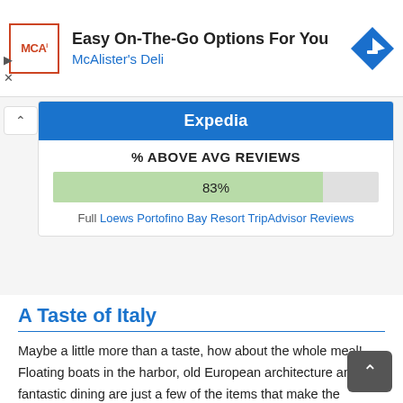[Figure (screenshot): Ad banner: McAlister's Deli – Easy On-The-Go Options For You, with logo and navigation icon]
Expedia
% ABOVE AVG REVIEWS
[Figure (bar-chart): % Above Avg Reviews]
Full Loews Portofino Bay Resort TripAdvisor Reviews
A Taste of Italy
Maybe a little more than a taste, how about the whole meal! Floating boats in the harbor, old European architecture and fantastic dining are just a few of the items that make the Universal Orlando Portofino Bay Resort stand out. Walk through the